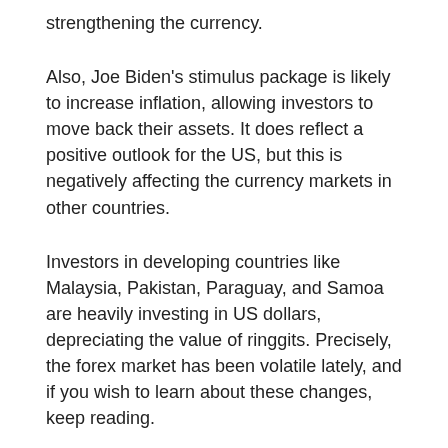strengthening the currency.
Also, Joe Biden's stimulus package is likely to increase inflation, allowing investors to move back their assets. It does reflect a positive outlook for the US, but this is negatively affecting the currency markets in other countries.
Investors in developing countries like Malaysia, Pakistan, Paraguay, and Samoa are heavily investing in US dollars, depreciating the value of ringgits. Precisely, the forex market has been volatile lately, and if you wish to learn about these changes, keep reading.
Here are the five ways how forex trading is changing in 2022.